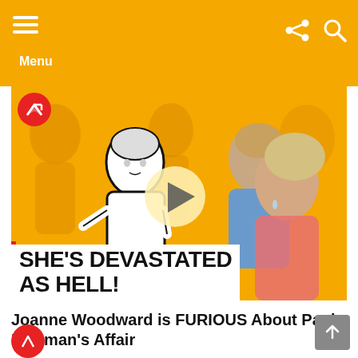Menu
[Figure (photo): Thumbnail image with text overlay reading SHE'S DEVASTATED AS HELL! showing vintage black and white photo of woman and color photo of couple, with a play button overlay, on an orange/yellow background. BuzzFeed-style red badge in top left corner.]
Joanne Woodward is FURIOUS About Paul Newman's Affair
by Facts Verse
5 months ago